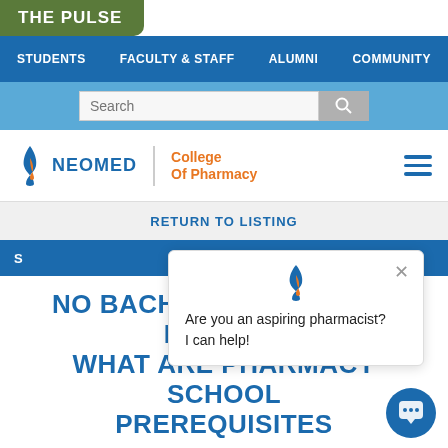THE PULSE
STUDENTS | FACULTY & STAFF | ALUMNI | COMMUNITY
Search
[Figure (logo): NEOMED College of Pharmacy logo with flame icon]
RETURN TO LISTING
S
Are you an aspiring pharmacist? I can help!
NO BACHELOR'S DEGREE NEEDED: WHAT ARE PHARMACY SCHOOL PREREQUISITES